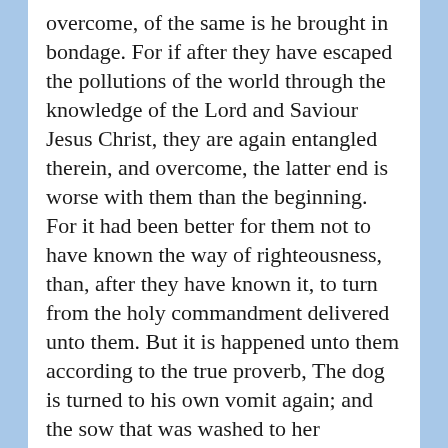overcome, of the same is he brought in bondage. For if after they have escaped the pollutions of the world through the knowledge of the Lord and Saviour Jesus Christ, they are again entangled therein, and overcome, the latter end is worse with them than the beginning. For it had been better for them not to have known the way of righteousness, than, after they have known it, to turn from the holy commandment delivered unto them. But it is happened unto them according to the true proverb, The dog is turned to his own vomit again; and the sow that was washed to her wallowing in the mire."
2 Peter 2:18-22, KJV
"Knowing this first, that there shall come in the last days scoffers, walking after their